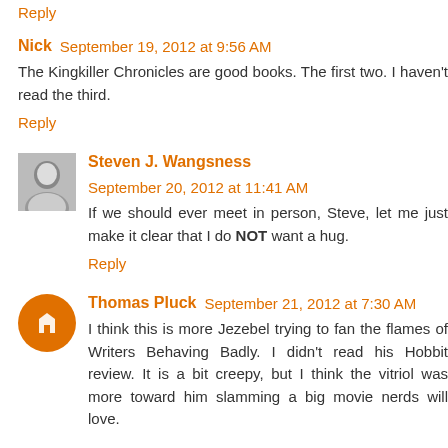Reply
Nick  September 19, 2012 at 9:56 AM
The Kingkiller Chronicles are good books. The first two. I haven't read the third.
Reply
Steven J. Wangsness  September 20, 2012 at 11:41 AM
If we should ever meet in person, Steve, let me just make it clear that I do NOT want a hug.
Reply
Thomas Pluck  September 21, 2012 at 7:30 AM
I think this is more Jezebel trying to fan the flames of Writers Behaving Badly. I didn't read his Hobbit review. It is a bit creepy, but I think the vitriol was more toward him slamming a big movie nerds will love.